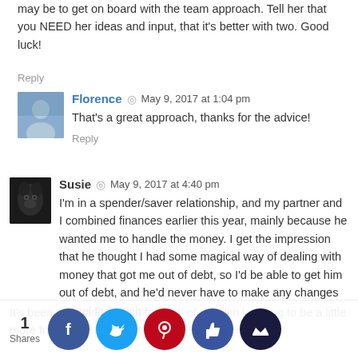may be to get on board with the team approach. Tell her that you NEED her ideas and input, that it's better with two. Good luck!
Reply
Florence  ·  May 9, 2017 at 1:04 pm
That's a great approach, thanks for the advice!
Reply
Susie  ·  May 9, 2017 at 4:40 pm
I'm in a spender/saver relationship, and my partner and I combined finances earlier this year, mainly because he wanted me to handle the money. I get the impression that he thought I had some magical way of dealing with money that got me out of debt, so I'd be able to get him out of debt, and he'd never have to make any changes or feel the pinch.
It's been a big adjustment for both of us; Him learning to be a little more frugal, me trying not to be so strict. I think one that h... helped I trac... "big e": He... n cons..., so his... check...